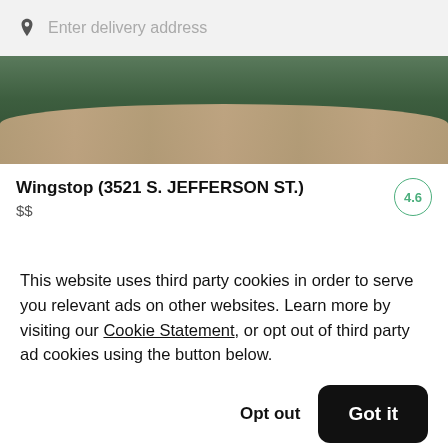Enter delivery address
[Figure (photo): Restaurant banner image showing chicken wings on a dark green background]
Wingstop (3521 S. JEFFERSON ST.) $$ 4.6
[Figure (photo): Restaurant food image showing colorful dishes on plates]
This website uses third party cookies in order to serve you relevant ads on other websites. Learn more by visiting our Cookie Statement, or opt out of third party ad cookies using the button below.
Opt out
Got it